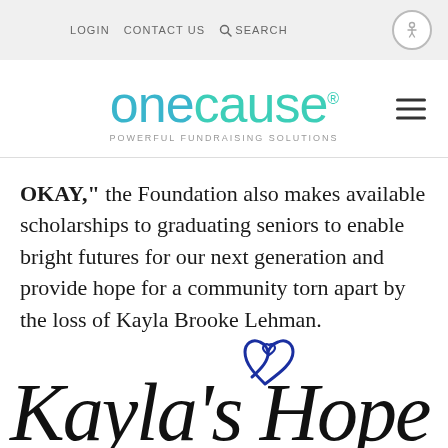LOGIN   CONTACT US   SEARCH
[Figure (logo): OneCause logo with tagline 'POWERFUL FUNDRAISING SOLUTIONS' and hamburger menu icon]
OKAY," the Foundation also makes available scholarships to graduating seniors to enable bright futures for our next generation and provide hope for a community torn apart by the loss of Kayla Brooke Lehman.
[Figure (illustration): Kayla's Hope cursive signature logo with a blue heart outline above the text]